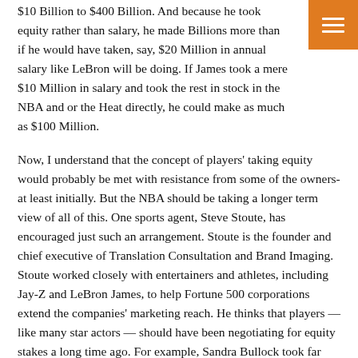$10 Billion to $400 Billion. And because he took equity rather than salary, he made Billions more than if he would have taken, say, $20 Million in annual salary like LeBron will be doing. If James took a mere $10 Million in salary and took the rest in stock in the NBA and or the Heat directly, he could make as much as $100 Million.
Now, I understand that the concept of players' taking equity would probably be met with resistance from some of the owners- at least initially. But the NBA should be taking a longer term view of all of this. One sports agent, Steve Stoute, has encouraged just such an arrangement. Stoute is the founder and chief executive of Translation Consultation and Brand Imaging. Stoute worked closely with entertainers and athletes, including Jay-Z and LeBron James, to help Fortune 500 corporations extend the companies' marketing reach. He thinks that players — like many star actors — should have been negotiating for equity stakes a long time ago. For example, Sandra Bullock took far less money up front for her hit movie 'The Blind Side' but received a huge piece of equity.